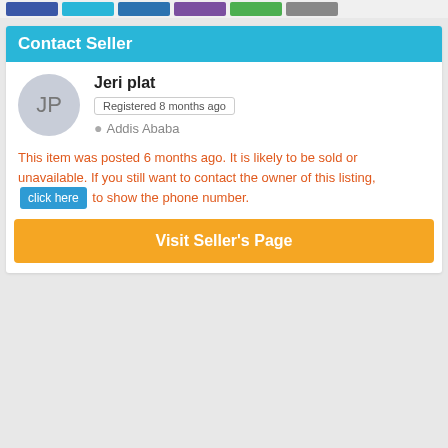[Figure (other): Colored tab navigation bar with blue, light blue, dark blue, purple, green, and grey tabs]
Contact Seller
Jeri plat
Registered 8 months ago
Addis Ababa
This item was posted 6 months ago. It is likely to be sold or unavailable. If you still want to contact the owner of this listing, click here to show the phone number.
Visit Seller's Page